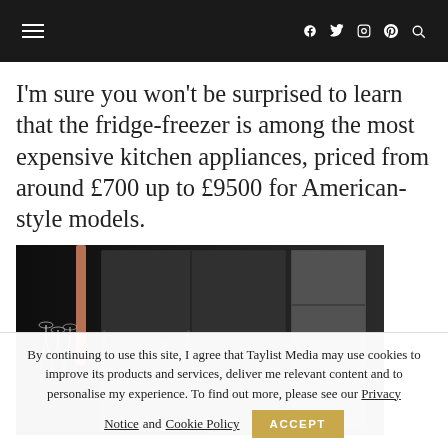≡  f  𝕏  ⊙  𝗽  🔍
I'm sure you won't be surprised to learn that the fridge-freezer is among the most expensive kitchen appliances, priced from around £700 up to £9500 for American-style models.
[Figure (photo): Dark-themed product photo of a luxury fridge-freezer (appears to be Fisher & Paykel or similar premium brand), shot against a near-black background with wine glasses visible on the left side.]
By continuing to use this site, I agree that Taylist Media may use cookies to improve its products and services, deliver me relevant content and to personalise my experience. To find out more, please see our Privacy Notice and Cookie Policy  ACCEPT